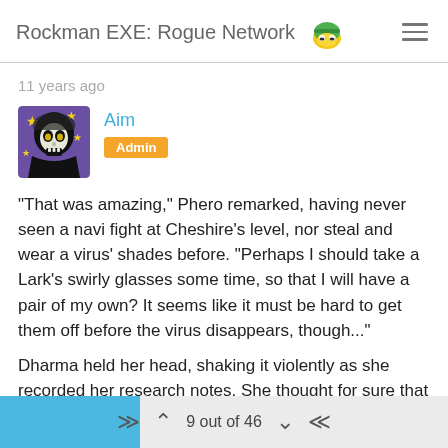Rockman EXE: Rogue Network
11 years ago
Aim
Admin
"That was amazing," Phero remarked, having never seen a navi fight at Cheshire's level, nor steal and wear a virus' shades before. "Perhaps I should take a Lark's swirly glasses some time, so that I will have a pair of my own? It seems like it must be hard to get them off before the virus disappears, though..."
Dharma held her head, shaking it violently as she recorded her research notes. She thought for sure that after the past couple of results, her batches must be getting closer
9 out of 46